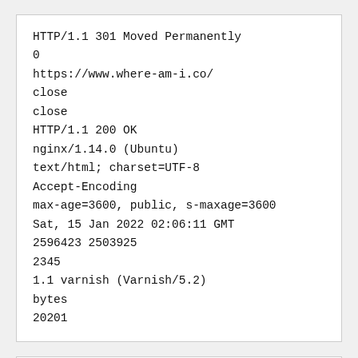HTTP/1.1 301 Moved Permanently
0
https://www.where-am-i.co/
close
close
HTTP/1.1 200 OK
nginx/1.14.0 (Ubuntu)
text/html; charset=UTF-8
Accept-Encoding
max-age=3600, public, s-maxage=3600
Sat, 15 Jan 2022 02:06:11 GMT
2596423 2503925
2345
1.1 varnish (Varnish/5.2)
bytes
20201
Disclaimer: